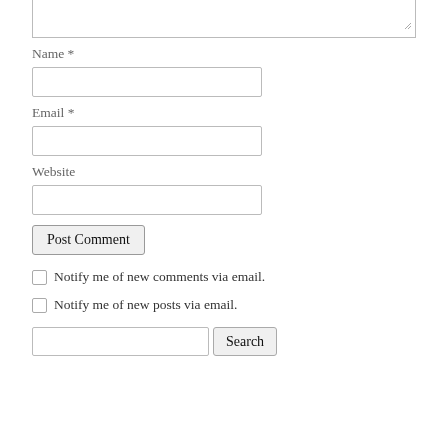[Figure (screenshot): Top portion of a textarea form field, showing only the bottom edge with a resize handle in the bottom-right corner]
Name *
[Figure (screenshot): Text input field for Name]
Email *
[Figure (screenshot): Text input field for Email]
Website
[Figure (screenshot): Text input field for Website]
[Figure (screenshot): Post Comment submit button]
Notify me of new comments via email.
Notify me of new posts via email.
[Figure (screenshot): Search input field with Search button]